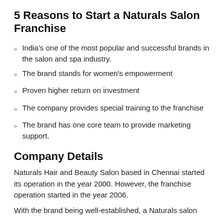5 Reasons to Start a Naturals Salon Franchise
India's one of the most popular and successful brands in the salon and spa industry.
The brand stands for women's empowerment
Proven higher return on investment
The company provides special training to the franchise
The brand has one core team to provide marketing support.
Company Details
Naturals Hair and Beauty Salon based in Chennai started its operation in the year 2000. However, the franchise operation started in the year 2006.
With the brand being well-established, a Naturals salon